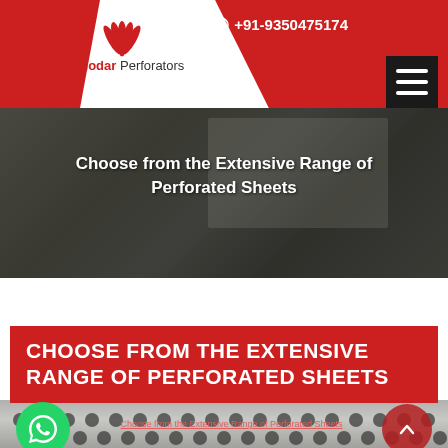[Figure (logo): Damodar Perforators logo with red leaf/fan icon and company name]
+91-9350475174
[Figure (screenshot): Hero banner photo showing a person at laptop with coffee cup, with dark overlay]
Choose from the Extensive Range of Perforated Sheets
CHOOSE FROM THE EXTENSIVE RANGE OF PERFORATED SHEETS
[Figure (photo): Close-up photo of perforated metal sheet with circular holes pattern]
Choose from the Extensive Range of Perforated Sheets